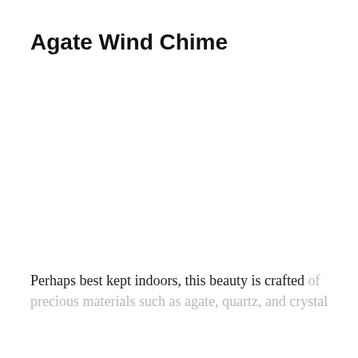Agate Wind Chime
Perhaps best kept indoors, this beauty is crafted of precious materials such as agate, quartz, and crystal